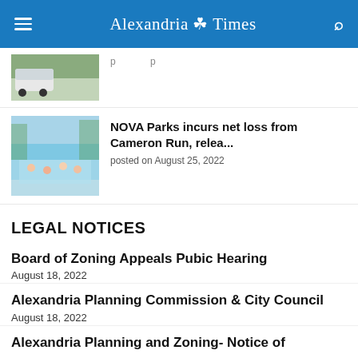Alexandria Times
[Figure (photo): Partial article thumbnail showing a police car near trees]
(partial headline text cut off)
[Figure (photo): Water park/pool scene with people swimming, Cameron Run]
NOVA Parks incurs net loss from Cameron Run, relea...
posted on August 25, 2022
LEGAL NOTICES
Board of Zoning Appeals Pubic Hearing
August 18, 2022
Alexandria Planning Commission & City Council
August 18, 2022
Alexandria Planning and Zoning- Notice of